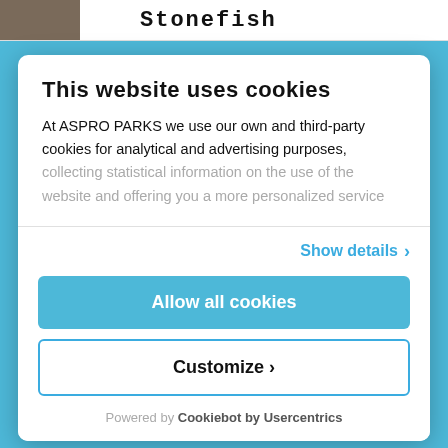[Figure (screenshot): Top bar with a stonefish photo thumbnail on the left and the text 'Stonefish' in bold monospace font on the right]
This website uses cookies
At ASPRO PARKS we use our own and third-party cookies for analytical and advertising purposes, collecting statistical information on the use of the website and offering you a more personalized service
Show details >
Allow all cookies
Customize >
Powered by Cookiebot by Usercentrics